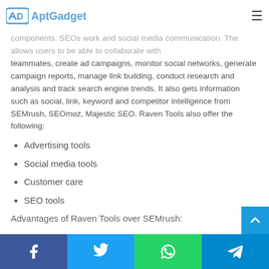AptGadget
components. SEOs work and social media communication. The allows users to be able to collaborate with teammates, create ad campaigns, monitor social networks, generate campaign reports, manage link building, conduct research and analysis and track search engine trends. It also gets information such as social, link, keyword and competitor intelligence from SEMrush, SEOmoz, Majestic SEO. Raven Tools also offer the following:
Advertising tools
Social media tools
Customer care
SEO tools
Advantages of Raven Tools over SEMrush: